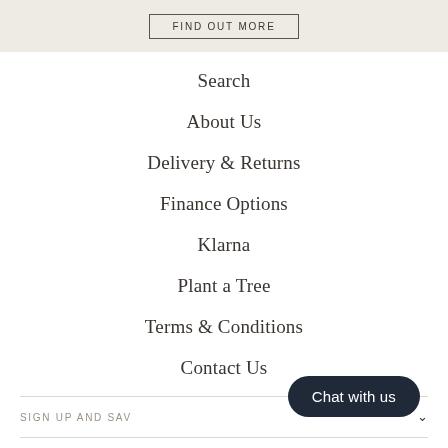FIND OUT MORE
Search
About Us
Delivery & Returns
Finance Options
Klarna
Plant a Tree
Terms & Conditions
Contact Us
SIGN UP AND SAVE
[Figure (logo): AT logo mark in a bordered box]